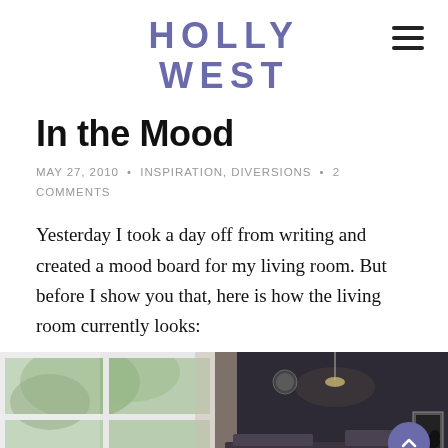HOLLY WEST
In the Mood
MAY 27, 2010 • INSPIRATION, DIVERSIONS • 2 COMMENTS
Yesterday I took a day off from writing and created a mood board for my living room. But before I show you that, here is how the living room currently looks:
[Figure (photo): Two-panel photo of a living room: left panel shows large windows with an outdoor tree view, right panel shows a darker interior view of the living room with furniture and decor.]